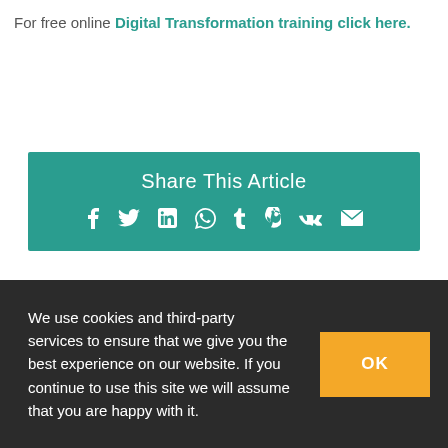For free online Digital Transformation training click here.
[Figure (infographic): Share This Article social media bar with teal background containing icons for Facebook, Twitter, LinkedIn, WhatsApp, Tumblr, Pinterest, VK, and Email]
We use cookies and third-party services to ensure that we give you the best experience on our website. If you continue to use this site we will assume that you are happy with it.